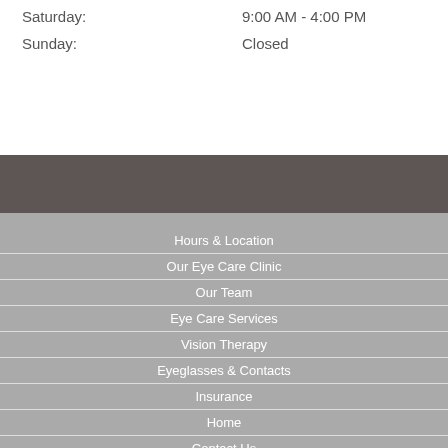Saturday: 9:00 AM - 4:00 PM
Sunday: Closed
Hours & Location
Our Eye Care Clinic
Our Team
Eye Care Services
Vision Therapy
Eyeglasses & Contacts
Insurance
Home
Contact Us
What's New